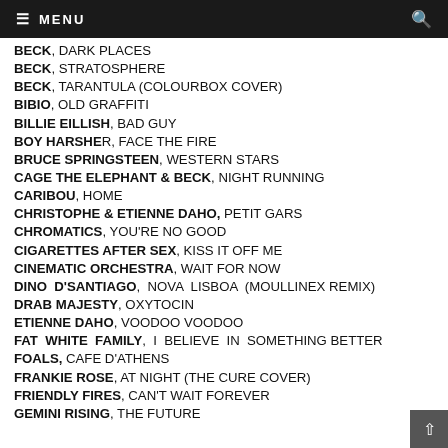≡ MENU
BECK, DARK PLACES
BECK, STRATOSPHERE
BECK, TARANTULA (COLOURBOX COVER)
BIBIO, OLD GRAFFITI
BILLIE EILLISH, BAD GUY
BOY HARSHER, FACE THE FIRE
BRUCE SPRINGSTEEN, WESTERN STARS
CAGE THE ELEPHANT & BECK, NIGHT RUNNING
CARIBOU, HOME
CHRISTOPHE & ETIENNE DAHO, PETIT GARS
CHROMATICS, YOU'RE NO GOOD
CIGARETTES AFTER SEX, KISS IT OFF ME
CINEMATIC ORCHESTRA, WAIT FOR NOW
DINO D'SANTIAGO, NOVA LISBOA (MOULLINEX REMIX)
DRAB MAJESTY, OXYTOCIN
ETIENNE DAHO, VOODOO VOODOO
FAT WHITE FAMILY, I BELIEVE IN SOMETHING BETTER
FOALS, CAFE D'ATHENS
FRANKIE ROSE, AT NIGHT (THE CURE COVER)
FRIENDLY FIRES, CAN'T WAIT FOREVER
GEMINI RISING, THE FUTURE